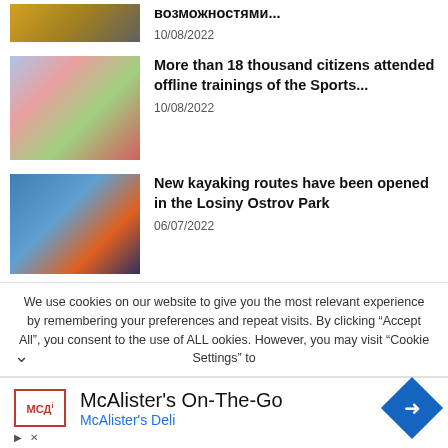[Figure (photo): Partial news thumbnail at top (cropped sport/gym image)]
возможностями...
10/08/2022
[Figure (photo): Outdoor group yoga/fitness class on pink mats under a tent]
More than 18 thousand citizens attended offline trainings of the Sports...
10/08/2022
[Figure (photo): Kayakers with orange paddles on a river in Losiny Ostrov Park]
New kayaking routes have been opened in the Losiny Ostrov Park
06/07/2022
We use cookies on our website to give you the most relevant experience by remembering your preferences and repeat visits. By clicking “Accept All”, you consent to the use of ALL ookies. However, you may visit “Cookie Settings” to
McAlister's On-The-Go
McAlister's Deli